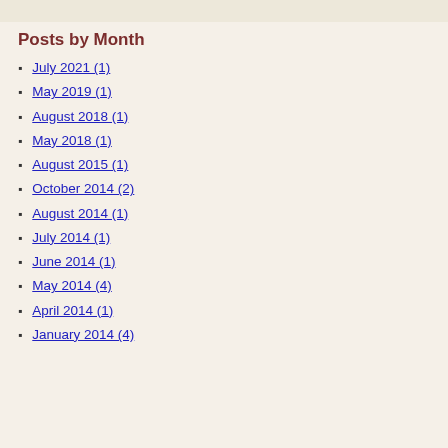Posts by Month
July 2021 (1)
May 2019 (1)
August 2018 (1)
May 2018 (1)
August 2015 (1)
October 2014 (2)
August 2014 (1)
July 2014 (1)
June 2014 (1)
May 2014 (4)
April 2014 (1)
January 2014 (4)